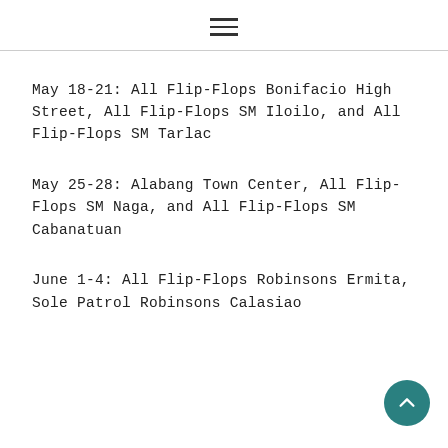☰
May 18-21: All Flip-Flops Bonifacio High Street, All Flip-Flops SM Iloilo, and All Flip-Flops SM Tarlac
May 25-28: Alabang Town Center, All Flip-Flops SM Naga, and All Flip-Flops SM Cabanatuan
June 1-4: All Flip-Flops Robinsons Ermita, Sole Patrol Robinsons Calasiao